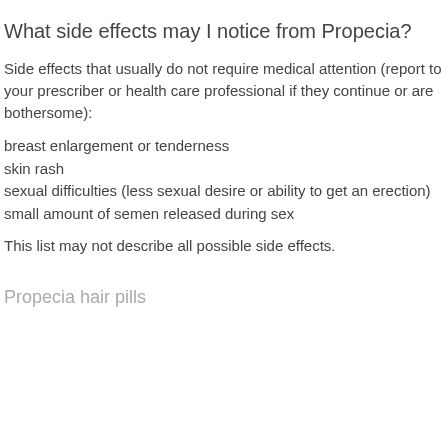What side effects may I notice from Propecia?
Side effects that usually do not require medical attention (report to your prescriber or health care professional if they continue or are bothersome):
breast enlargement or tenderness
skin rash
sexual difficulties (less sexual desire or ability to get an erection)
small amount of semen released during sex
This list may not describe all possible side effects.
Propecia hair pills